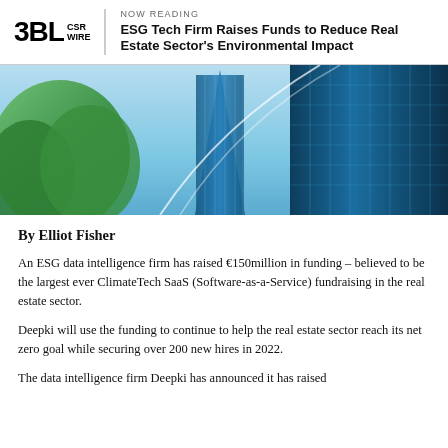3BL CSR WIRE
ESG Tech Firm Raises Funds to Reduce Real Estate Sector's Environmental Impact
[Figure (photo): Upward-looking view of modern glass skyscrapers against a blue sky, with green trees visible on the left side]
By Elliot Fisher
An ESG data intelligence firm has raised €150million in funding – believed to be the largest ever ClimateTech SaaS (Software-as-a-Service) fundraising in the real estate sector.
Deepki will use the funding to continue to help the real estate sector reach its net zero goal while securing over 200 new hires in 2022.
The data intelligence firm Deepki has announced it has raised